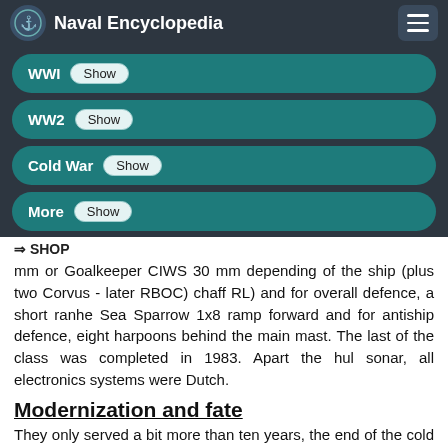Naval Encyclopedia
WWI Show
WW2 Show
Cold War Show
More Show
⇒ SHOP
mm or Goalkeeper CIWS 30 mm depending of the ship (plus two Corvus - later RBOC) chaff RL) and for overall defence, a short ranhe Sea Sparrow 1x8 ramp forward and for antiship defence, eight harpoons behind the main mast. The last of the class was completed in 1983. Apart the hul sonar, all electronics systems were Dutch.
Modernization and fate
They only served a bit more than ten years, the end of the cold war making a wave of sales. The first ships had